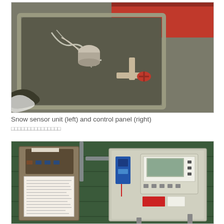[Figure (photo): Outdoor underground water pit with pipes, valves, cables, and a red lid visible. Shows plumbing infrastructure in a concrete box.]
Snow sensor unit (left) and control panel (right)
□□□□□□□□□□□□□□□
[Figure (photo): Two electrical control panel boxes mounted on a dark green wall. Left box is open showing a document/label sheet and meters. Right box shows a digital display unit with buttons and wiring.]